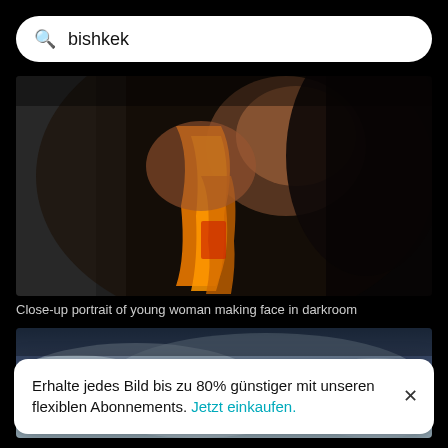bishkek
[Figure (photo): Close-up portrait of young woman holding orange cloth/strap in darkroom, dark background]
Close-up portrait of young woman making face in darkroom
[Figure (photo): Dramatic sky with clouds, blue-grey tones]
Erhalte jedes Bild bis zu 80% günstiger mit unseren flexiblen Abonnements. Jetzt einkaufen.